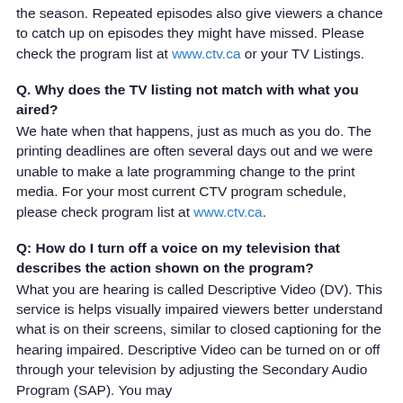the season. Repeated episodes also give viewers a chance to catch up on episodes they might have missed. Please check the program list at www.ctv.ca or your TV Listings.
Q. Why does the TV listing not match with what you aired?
We hate when that happens, just as much as you do. The printing deadlines are often several days out and we were unable to make a late programming change to the print media. For your most current CTV program schedule, please check program list at www.ctv.ca.
Q: How do I turn off a voice on my television that describes the action shown on the program?
What you are hearing is called Descriptive Video (DV). This service is helps visually impaired viewers better understand what is on their screens, similar to closed captioning for the hearing impaired. Descriptive Video can be turned on or off through your television by adjusting the Secondary Audio Program (SAP). You may